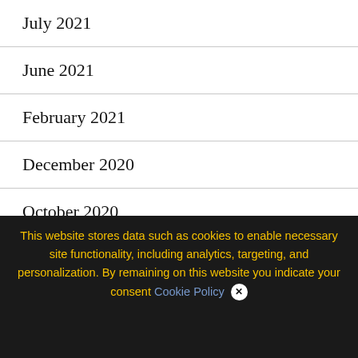July 2021
June 2021
February 2021
December 2020
October 2020
We use cookies on our website to give you the most relevant experience by remembering your preferences and repeat visits. By clicking “Accept All”, you consent to the use of ALL the controlled consent.
This website stores data such as cookies to enable necessary site functionality, including analytics, targeting, and personalization. By remaining on this website you indicate your consent Cookie Policy ✕